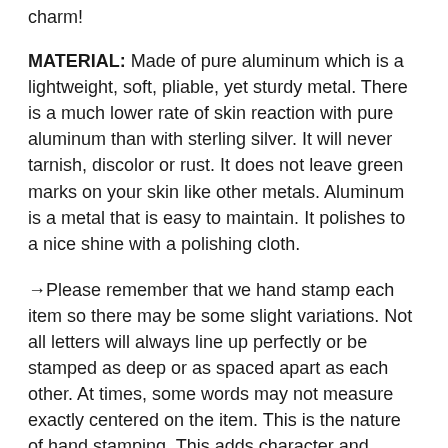charm!
MATERIAL: Made of pure aluminum which is a lightweight, soft, pliable, yet sturdy metal. There is a much lower rate of skin reaction with pure aluminum than with sterling silver. It will never tarnish, discolor or rust. It does not leave green marks on your skin like other metals. Aluminum is a metal that is easy to maintain. It polishes to a nice shine with a polishing cloth.
→Please remember that we hand stamp each item so there may be some slight variations. Not all letters will always line up perfectly or be stamped as deep or as spaced apart as each other. At times, some words may not measure exactly centered on the item. This is the nature of hand stamping. This adds character and uniqueness to your items. We do try our best though to achieve that perfect and straight look :)
→The black in the stamping can fade out either over time